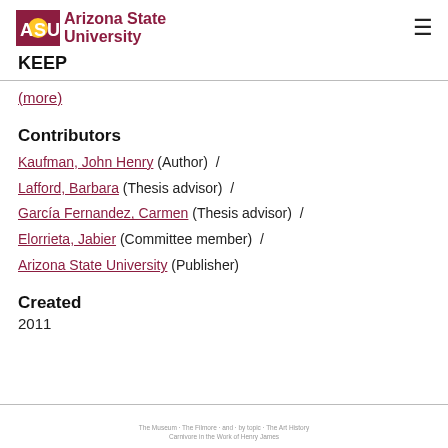Arizona State University — KEEP
(more)
Contributors
Kaufman, John Henry (Author) /
Lafford, Barbara (Thesis advisor) /
García Fernandez, Carmen (Thesis advisor) /
Elorrieta, Jabier (Committee member) /
Arizona State University (Publisher)
Created
2011
The Museum · The Filmore · and · by topic · The Art History
Carnivore in the Work of Henry James